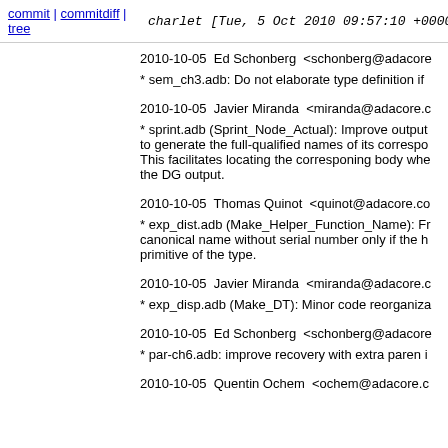commit | commitdiff | tree   charlet [Tue, 5 Oct 2010 09:57:10 +0000
2010-10-05  Ed Schonberg  <schonberg@adacore
* sem_ch3.adb: Do not elaborate type definition if
2010-10-05  Javier Miranda  <miranda@adacore.c
* sprint.adb (Sprint_Node_Actual): Improve output to generate the full-qualified names of its correspo. This facilitates locating the corresponing body whe the DG output.
2010-10-05  Thomas Quinot  <quinot@adacore.co
* exp_dist.adb (Make_Helper_Function_Name): Fr canonical name without serial number only if the h primitive of the type.
2010-10-05  Javier Miranda  <miranda@adacore.c
* exp_disp.adb (Make_DT): Minor code reorganiza
2010-10-05  Ed Schonberg  <schonberg@adacore
* par-ch6.adb: improve recovery with extra paren i
2010-10-05  Quentin Ochem  <ochem@adacore.c